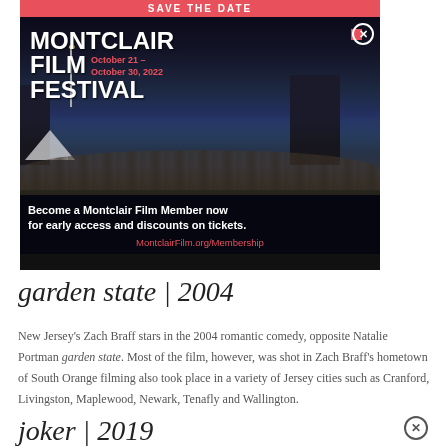[Figure (photo): Montclair Film Festival advertisement banner showing a crowd at night with festival title text, dates October 21-October 30, 2022, and membership call to action.]
garden state | 2004
New Jersey's Zach Braff stars in the 2004 romantic comedy, opposite Natalie Portman garden state. Most of the film, however, was shot in Zach Braff's hometown of South Orange filming also took place in a variety of Jersey cities such as Cranford, Livingston, Maplewood, Newark, Tenafly and Wallington.
joker | 2019